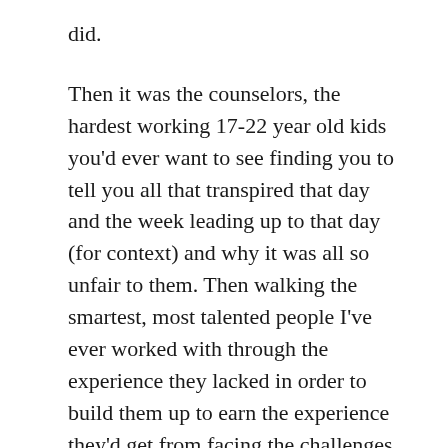did.
Then it was the counselors, the hardest working 17-22 year old kids you'd ever want to see finding you to tell you all that transpired that day and the week leading up to that day (for context) and why it was all so unfair to them. Then walking the smartest, most talented people I've ever worked with through the experience they lacked in order to build them up to earn the experience they'd get from facing the challenges that come with being accountable to 30-40 kids with special needs, the parents and caregivers of all those kids, the bosses, like me and others they were working with and all their friends who now needed so